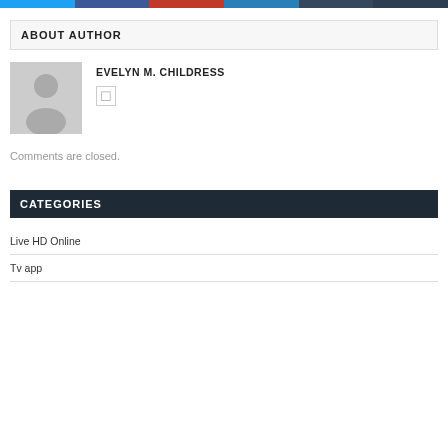[Figure (other): Colored navigation bar with six colored segments: light blue, dark blue, red, medium blue, dark slate, very dark navy]
ABOUT AUTHOR
[Figure (illustration): Generic user avatar silhouette on gray background]
EVELYN M. CHILDRESS
[Figure (other): Small icon button]
Comments are closed.
CATEGORIES
Live HD Online
Tv app